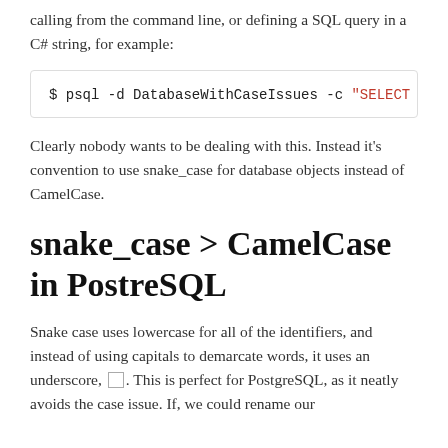calling from the command line, or defining a SQL query in a C# string, for example:
$ psql -d DatabaseWithCaseIssues -c "SELECT \"I
Clearly nobody wants to be dealing with this. Instead it's convention to use snake_case for database objects instead of CamelCase.
snake_case > CamelCase in PostreSQL
Snake case uses lowercase for all of the identifiers, and instead of using capitals to demarcate words, it uses an underscore, _. This is perfect for PostgreSQL, as it neatly avoids the case issue. If, we could rename our